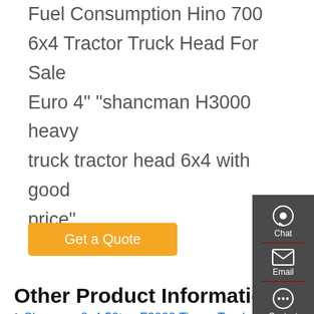Fuel Consumption Hino 700 6x4 Tractor Truck Head For Sale Euro 4" "shancman H3000 heavy truck tractor head 6x4 with good price"
Get a Quote
Other Product Information
Shacman 8x4 50ton F2000 Tipper Truck Pabrik Untuk
Dump Trucks For Sale in Connecticut
Second-handSinotruk HOWO Brand 6X6 Dump Truck Tipper
Used HOWO 6X4 High Quality Loading Capacity 20 Ton Dump Truck
Beiben Heavy Duty Truck 6X4 30 Ton Dumper Dump Truck
Second-hand Search Howo Tipper 6 4 Truck with Ecosia